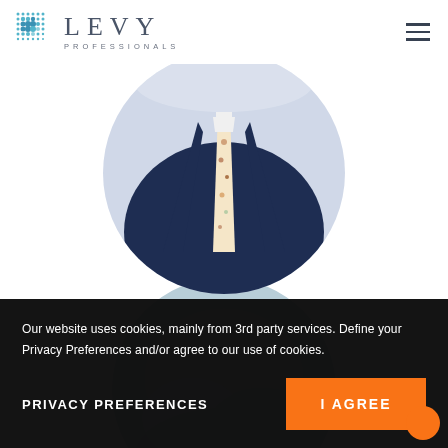[Figure (logo): Levy Professionals logo with dot-grid icon and text]
[Figure (photo): Circular cropped photo of a person in a navy suit with floral tie, torso visible]
[Figure (photo): Circular cropped photo with blurred light blue/grey background, partially behind cookie banner]
Our website uses cookies, mainly from 3rd party services. Define your Privacy Preferences and/or agree to our use of cookies.
PRIVACY PREFERENCES
I AGREE